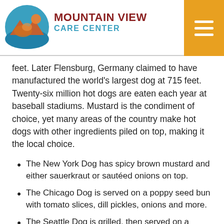MOUNTAIN VIEW CARE CENTER
feet. Later Flensburg, Germany claimed to have manufactured the world's largest dog at 715 feet. Twenty-six million hot dogs are eaten each year at baseball stadiums. Mustard is the condiment of choice, yet many areas of the country make hot dogs with other ingredients piled on top, making it the local choice.
The New York Dog has spicy brown mustard and either sauerkraut or sautéed onions on top.
The Chicago Dog is served on a poppy seed bun with tomato slices, dill pickles, onions and more.
The Seattle Dog is grilled, then served on a toasted bun, slathered in cream cheese, grilled onion and cabbage and jalapenos.
The Philly Dog is topped with Cheez Whiz, yellow, red and green grilled peppers and onion slices.
The Detroit Dog is all-beef in natural casing, served